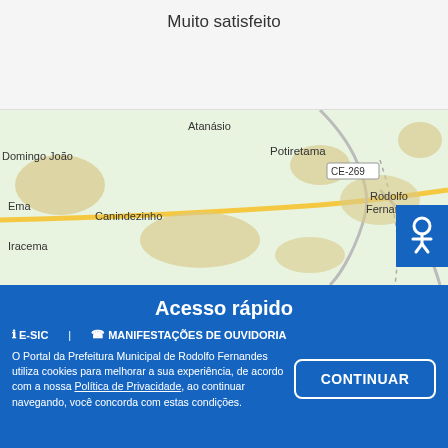Muito satisfeito
[Figure (map): Google Maps screenshot showing the region around Rodolfo Fernandes, Brazil, with towns including Atanásio, Potiretama, Domingo João, Ema, Canindezinho, Iracema, Severiano Melo, Itaú, Santa Ro... Roads CE-269 and 405 are visible.]
Acesso rápido
ⓘ E-SIC   ☎ MANIFESTAÇÕES DE OUVIDORIA
O Portal da Prefeitura Municipal de Rodolfo Fernandes utiliza cookies para melhorar a sua experiência, de acordo com a nossa Política de Privacidade, ao continuar navegando, você concorda com estas condições.
CONTINUAR